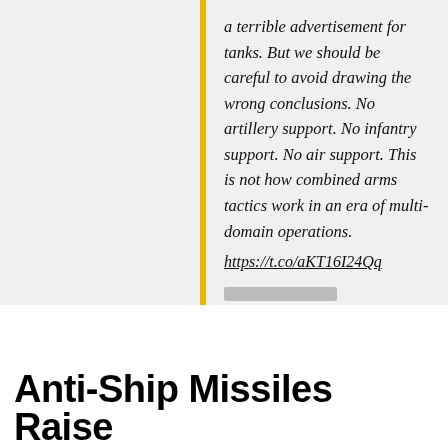a terrible advertisement for tanks. But we should be careful to avoid drawing the wrong conclusions. No artillery support. No infantry support. No air support. This is not how combined arms tactics work in an era of multi-domain operations. https://t.co/aKT16I24Qq
February 28, 2022
Anti-Ship Missiles Raise